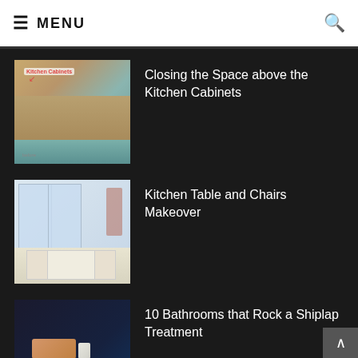≡ MENU
[Figure (screenshot): Thumbnail image of kitchen cabinets with text label 'Kitchen Cabinets' and arrow]
Closing the Space above the Kitchen Cabinets
[Figure (screenshot): Thumbnail image of kitchen table and chairs in a bright room]
Kitchen Table and Chairs Makeover
[Figure (screenshot): Thumbnail image of dark bathroom with shiplap wall treatment and shelf]
10 Bathrooms that Rock a Shiplap Treatment
[Figure (screenshot): Thumbnail image of kitchen cabinet with moldings]
Adding Moldings to your Kitchen Cabinets